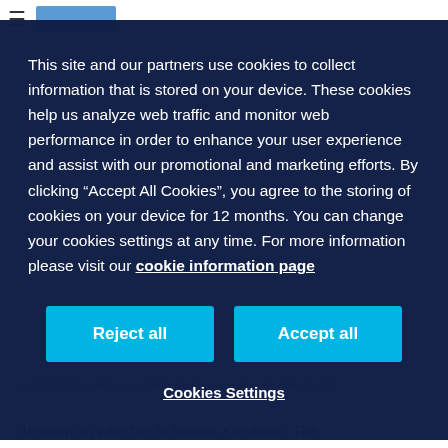This site and our partners use cookies to collect information that is stored on your device. These cookies help us analyze web traffic and monitor web performance in order to enhance your user experience and assist with our promotional and marketing efforts. By clicking “Accept All Cookies”, you agree to the storing of cookies on your device for 12 months. You can change your cookies settings at any time. For more information please visit our cookie information page
Reject all
Accept all
Cookies Settings
17/05/02), will incorporate the analysis into their decision on whether to launch a revision. The